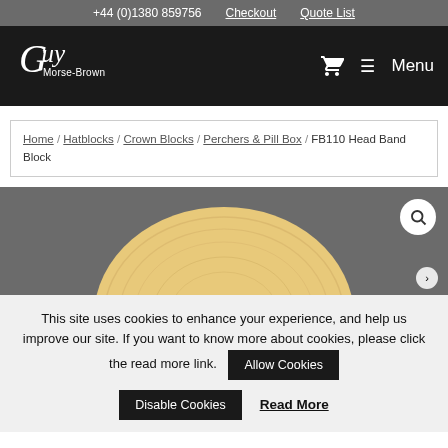+44 (0)1380 859756  Checkout  Quote List
[Figure (logo): Guy Morse-Brown logo in white cursive text with shopping cart icon and hamburger menu labeled Menu on black background]
Home / Hatblocks / Crown Blocks / Perchers & Pill Box / FB110 Head Band Block
[Figure (photo): Product image of a wooden hat block (birch wood dome top) on a grey background with a search magnifying glass icon in top right corner]
This site uses cookies to enhance your experience, and help us improve our site. If you want to know more about cookies, please click the read more link.
Allow Cookies
Disable Cookies
Read More